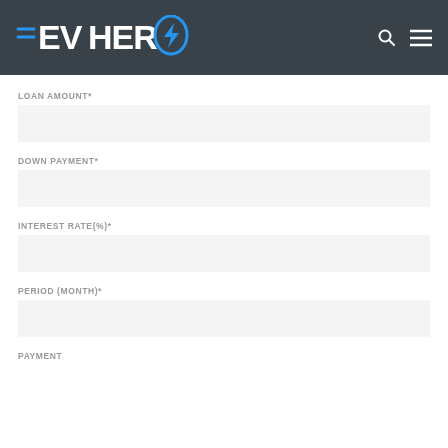EVHERO
LOAN AMOUNT*
DOWN PAYMENT*
INTEREST RATE(%)*
PERIOD (MONTH)*
PAYMENT